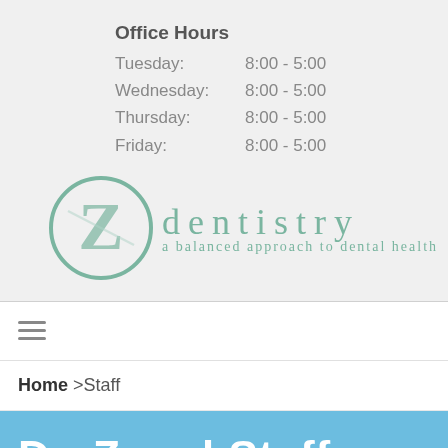Office Hours
Tuesday: 8:00 - 5:00
Wednesday: 8:00 - 5:00
Thursday: 8:00 - 5:00
Friday: 8:00 - 5:00
[Figure (logo): Z dentistry logo — a stylized letter Z inside a circle, with text 'dentistry' and tagline 'a balanced approach to dental health' in teal/green color]
Home >Staff
Dr. Z and Staff